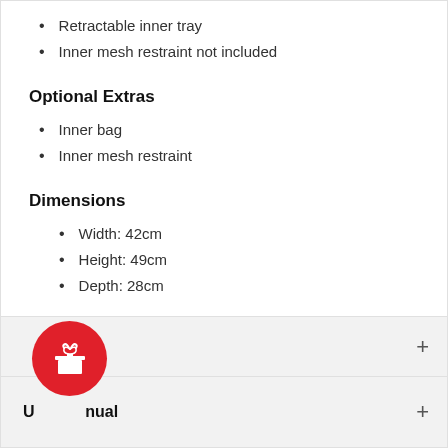Retractable inner tray
Inner mesh restraint not included
Optional Extras
Inner bag
Inner mesh restraint
Dimensions
Width: 42cm
Height: 49cm
Depth: 28cm
U...nual